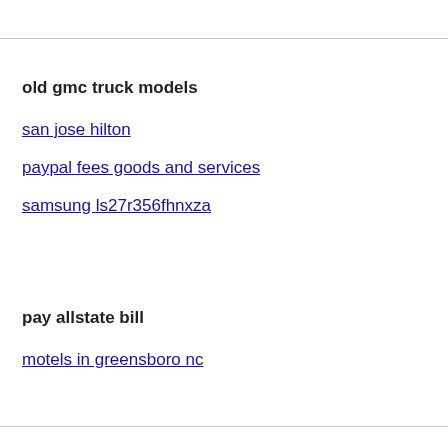old gmc truck models
san jose hilton
paypal fees goods and services
samsung ls27r356fhnxza
pay allstate bill
motels in greensboro nc